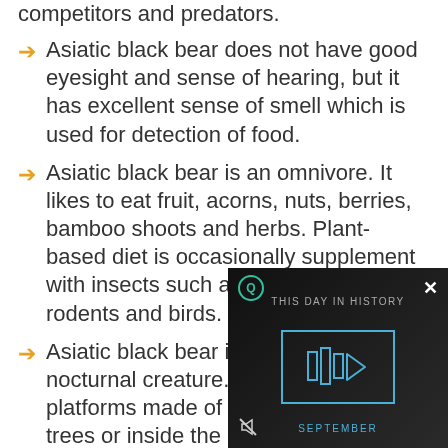competitors and predators.
Asiatic black bear does not have good eyesight and sense of hearing, but it has excellent sense of smell which is used for detection of food.
Asiatic black bear is an omnivore. It likes to eat fruit, acorns, nuts, berries, bamboo shoots and herbs. Plant-based diet is occasionally supplement with insects such as ants and termites, rodents and birds.
Asiatic black bear is solitary and nocturnal creature. It sleeps on the platforms made of branches in the trees or inside the [obscured] the day.
Natural enemies of [obscured] wolves and brown [obscured]
Asiatic black bear h[obscured] other species of be[obscured]
[Figure (screenshot): Video overlay with dark background showing 'THIS DAY IN HISTORY' title, a play button icon in a blue outlined box, SEPTEMBER label, mute icon, and X close button]